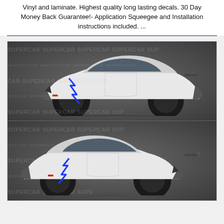Vinyl and laminate. Highest quality long lasting decals. 30 Day Money Back Guarantee!- Application Squeegee and Installation instructions included. ...
[Figure (photo): Two side-view images of a white Lamborghini Aventador supercar with blue lightning bolt decals, shown from left side (top) and right side (bottom), against a watermarked Supercar Graphics background.]